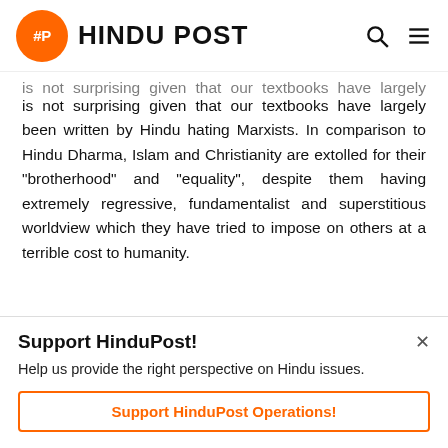HINDU POST
is not surprising given that our textbooks have largely been written by Hindu hating Marxists. In comparison to Hindu Dharma, Islam and Christianity are extolled for their “brotherhood” and “equality”, despite them having extremely regressive, fundamentalist and superstitious worldview which they have tried to impose on others at a terrible cost to humanity.
The issue is compounded by the fact that Hindu children get practically no religious education. A Christian child gets
Support HinduPost!
Help us provide the right perspective on Hindu issues.
Support HinduPost Operations!